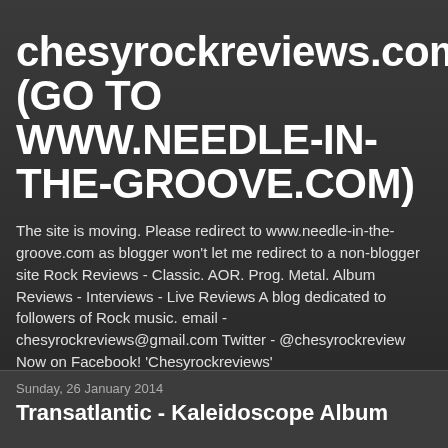chesyrockreviews.com (GO TO WWW.NEEDLE-IN-THE-GROOVE.COM)
The site is moving. Please redirect to www.needle-in-the-groove.com as blogger won't let me redirect to a non-blogger site Rock Reviews - Classic. AOR. Prog. Metal. Album Reviews - Interviews - Live Reviews A blog dedicated to followers of Rock music. email - chesyrockreviews@gmail.com Twitter - @chesyrockreview Now on Facebook! 'Chesyrockreviews'
Sunday, 26 January 2014
Transatlantic - Kaleidoscope Album